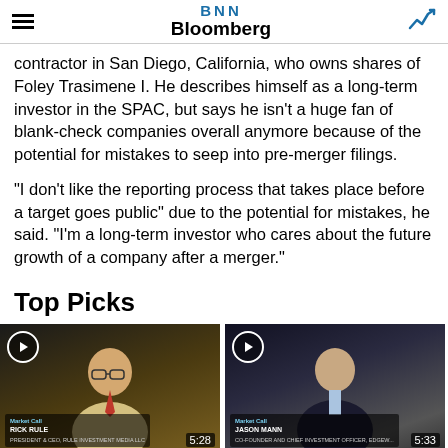BNN Bloomberg
contractor in San Diego, California, who owns shares of Foley Trasimene I. He describes himself as a long-term investor in the SPAC, but says he isn't a huge fan of blank-check companies overall anymore because of the potential for mistakes to seep into pre-merger filings.
“I don’t like the reporting process that takes place before a target goes public” due to the potential for mistakes, he said. “I’m a long-term investor who cares about the future growth of a company after a merger.”
Top Picks
[Figure (screenshot): Video thumbnail for Rick Rule's Top Picks with play button, Market Call label, Rick Rule's name, and duration 5:28]
Rick Rule's Top Picks: September 2, 2022
[Figure (screenshot): Video thumbnail for Jason Mann's Top Picks with play button, Market Call label, Jason Mann's name and title, and duration 5:33]
Jason Mann's Top Picks: September 1